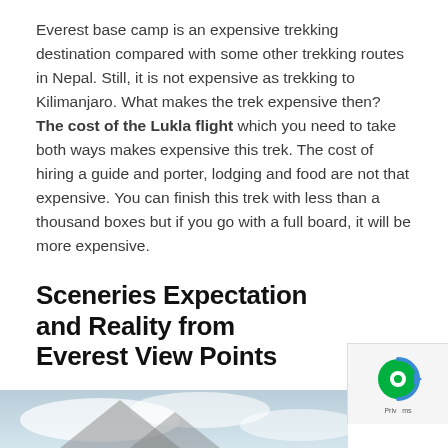Everest base camp is an expensive trekking destination compared with some other trekking routes in Nepal. Still, it is not expensive as trekking to Kilimanjaro. What makes the trek expensive then? The cost of the Lukla flight which you need to take both ways makes expensive this trek. The cost of hiring a guide and porter, lodging and food are not that expensive. You can finish this trek with less than a thousand boxes but if you go with a full board, it will be more expensive.
Sceneries Expectation and Reality from Everest View Points
[Figure (photo): Partial view of a mountain scene with clouds, cropped at bottom of page]